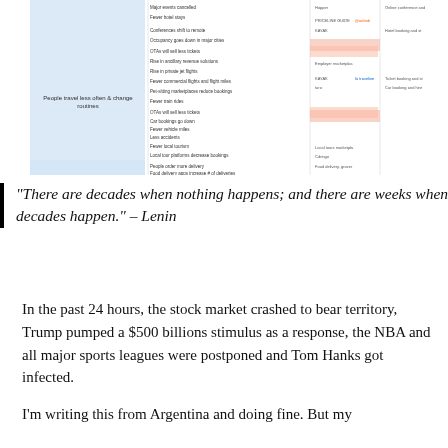[Figure (screenshot): Screenshot of a travel/tourism impact table showing effects of COVID-19 on travel behavior, companies, and platforms. Includes rows about event cancellations, hotel bookings, flight reductions, OTA ticket sales, car bookings, local tourism, business travel, schools, religious gatherings, food/grocery delivery apps. Company logos visible include Hopper, Airbnb, PRICELINE GUIDE, Kayak, HomeAway, OTAs, and others.]
“There are decades when nothing happens; and there are weeks when decades happen.” – Lenin
In the past 24 hours, the stock market crashed to bear territory, Trump pumped a $500 billions stimulus as a response, the NBA and all major sports leagues were postponed and Tom Hanks got infected.
I’m writing this from Argentina and doing fine. But my